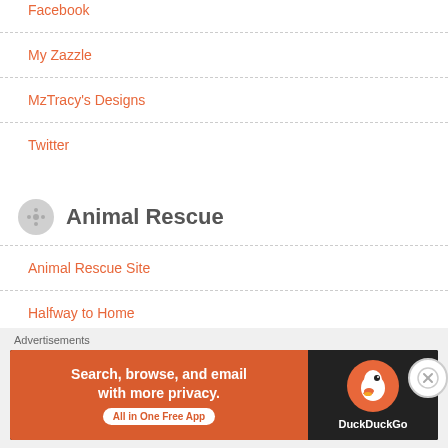Facebook
My Zazzle
MzTracy's Designs
Twitter
Animal Rescue
Animal Rescue Site
Halfway to Home
Blogroll
Advertisements
[Figure (screenshot): DuckDuckGo advertisement banner: 'Search, browse, and email with more privacy. All in One Free App' with DuckDuckGo logo on dark background]